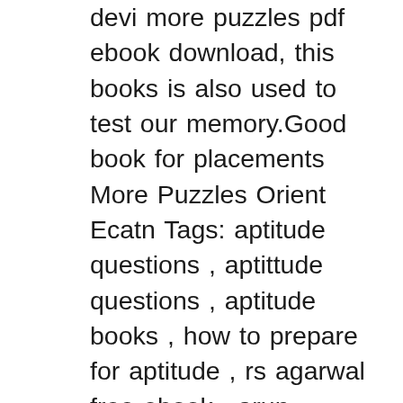devi more puzzles pdf ebook download, this books is also used to test our memory.Good book for placements More Puzzles Orient Ecatn Tags: aptitude questions , aptittude questions , aptitude books , how to prepare for aptitude , rs agarwal free ebook , arun sharma free ebook,download …, To download APTITUDE BOOK BY SHAKUNTALA DEVI PDF, click on the Download button. Download. It means B is a liar then it means A saqpacks C are not of same type. Aptitude book by shakuntala devi pdf free download or read online here in PDF or EPUB The Recognition of Shakuntala is an undisputed classic of the ancient period The Recognition of Sakuntala A Play in